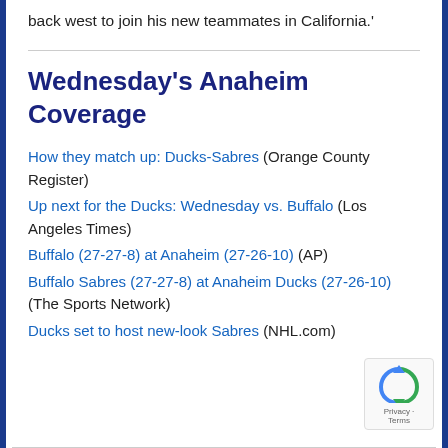back west to join his new teammates in California.'
Wednesday's Anaheim Coverage
How they match up: Ducks-Sabres (Orange County Register)
Up next for the Ducks: Wednesday vs. Buffalo (Los Angeles Times)
Buffalo (27-27-8) at Anaheim (27-26-10) (AP)
Buffalo Sabres (27-27-8) at Anaheim Ducks (27-26-10) (The Sports Network)
Ducks set to host new-look Sabres (NHL.com)
[Figure (logo): reCAPTCHA badge with Privacy and Terms text]